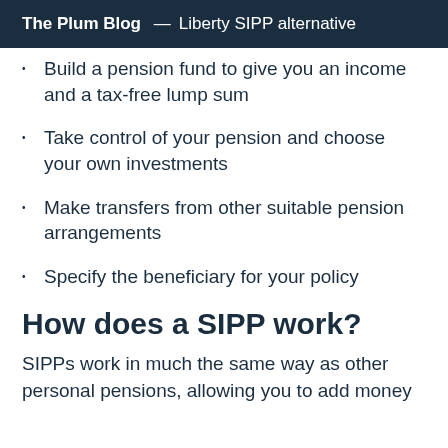The Plum Blog — Liberty SIPP alternative
Build a pension fund to give you an income and a tax-free lump sum
Take control of your pension and choose your own investments
Make transfers from other suitable pension arrangements
Specify the beneficiary for your policy
How does a SIPP work?
SIPPs work in much the same way as other personal pensions, allowing you to add money